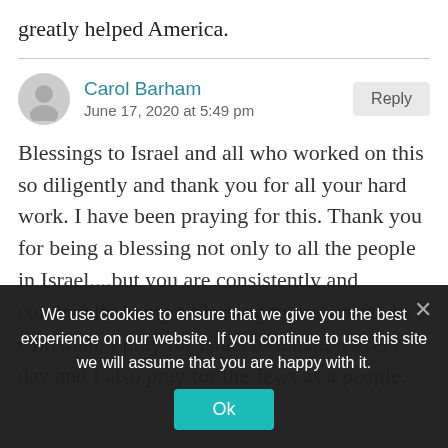greatly helped America.
Carol Barham
June 17, 2020 at 5:49 pm
Blessings to Israel and all who worked on this so diligently and thank you for all your hard work. I have been praying for this. Thank you for being a blessing not only to all the people in Israel....but you are consistently and continually being a blessing to the world. As a Christian, I pray for Israel as a nation every day and I also pray for the Jews as a people.
We use cookies to ensure that we give you the best experience on our website. If you continue to use this site we will assume that you are happy with it.